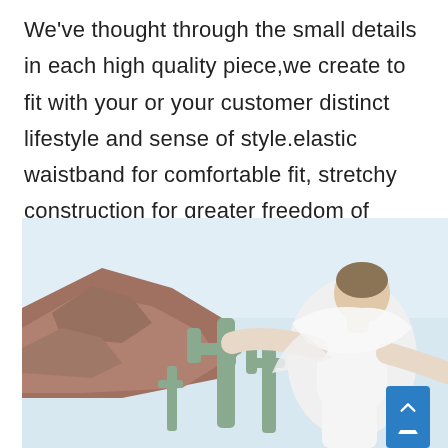We've thought through the small details in each high quality piece,we create to fit with your or your customer distinct lifestyle and sense of style.elastic waistband for comfortable fit, stretchy construction for greater freedom of movement.
[Figure (photo): A woman in white clothing leaning back with arms outstretched outdoors against a desert landscape with rocks and cacti, light blue sky in background. A blue scroll-to-top button is visible in the bottom right corner.]